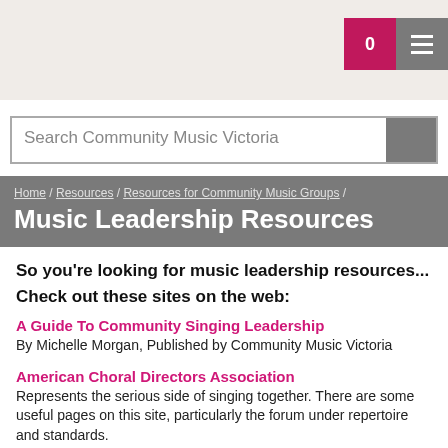[Figure (screenshot): Website header with pink badge showing '0' and grey hamburger menu button]
[Figure (screenshot): Search bar with placeholder text 'Search Community Music Victoria' and grey search button]
Music Leadership Resources
So you're looking for music leadership resources...
Check out these sites on the web:
A Guide To Community Singing Leadership
By Michelle Morgan, Published by Community Music Victoria
American Choral Directors Association
Represents the serious side of singing together.  There are some useful pages on this site, particularly the forum under repertoire and standards.
ANCA
Membership organisation for choirs. Public Liability insurance and other resources available.